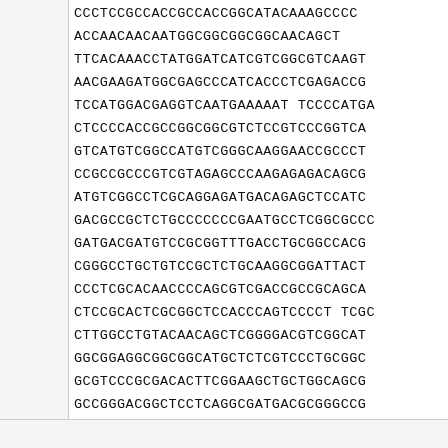CCCTCCGCCACCGCCACCGGCATACAAAGCCCC
ACCAACAACAAT GGCGGCGGCGGCAACAGCT
TTCACAAACCTATGGATCATCGTCGGCGTCAAGT
AACGAAGATGGCGAGCCCATCACCCTCGAGACCG
TCCATGGACGAGGTCAATGAAAAATTCCCCATGA
CTCCCCACCGCCGGCGGCGTCTCCGTCCCGGTCA
GTCATGTCGGCCATGTCGGGCAAGGAACCGCCCT
CCGCCGCCCGTCGTAGAGCCCAAGAGAGACAGCG
ATGTCGGCCTCGCAGGAGATGACAGAGCTCCATC
GACGCCGCTCTGCCCCCCGAATGCCTCGGCGCCC
GATGACGATGTCCGCGGTTTGACCTGCGGCCACG
CGGGCCTGCTGTCCGCTCTGCAAGGCGGATTACT
CCCTCGCACAACCCCAGCGTCGACCGCCGCAGCA
CTCCGCACTCGCGGCTCCACCCAGTCCCCTTCGC
CTTGGCCTGTACAACAGCTCGGGGACGTCGGCAT
GGCGGAGGCGGCGGCATGCTCTCGTCCCTGCGGC
GCGTCCCGCGACACTTCGGAAGCTGCTGGCAGCG
GCCGGGACGGCTCCTCAGGCGATGACGCGGGCCG